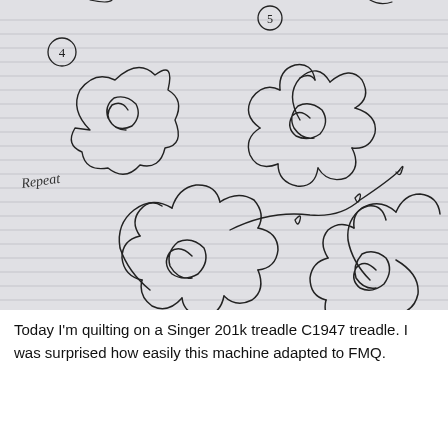[Figure (illustration): A photograph of a lined notebook page with hand-drawn pencil sketches of spiral flower designs. Step 4 shows a simple spiral rose. Step 5 shows a more complex flower with petal outlines and a spiral center. Below, labeled 'Repeat', is a larger flowing design showing two full spiral flowers connected by a curving vine with small loops, demonstrating how to repeat the quilting motif.]
Today I'm quilting on a Singer 201k treadle C1947 treadle.  I was surprised how easily this machine adapted to FMQ.